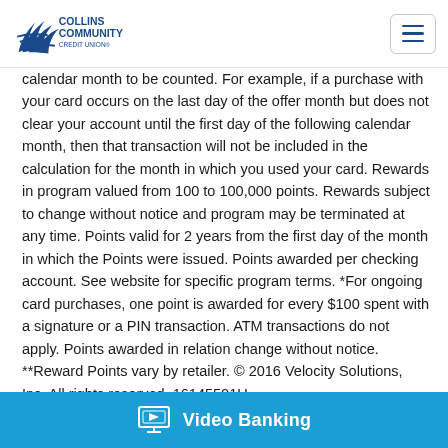Collins Community Credit Union
calendar month to be counted. For example, if a purchase with your card occurs on the last day of the offer month but does not clear your account until the first day of the following calendar month, then that transaction will not be included in the calculation for the month in which you used your card. Rewards in program valued from 100 to 100,000 points. Rewards subject to change without notice and program may be terminated at any time. Points valid for 2 years from the first day of the month in which the Points were issued. Points awarded per checking account. See website for specific program terms. *For ongoing card purchases, one point is awarded for every $100 spent with a signature or a PIN transaction. ATM transactions do not apply. Points awarded in relation change without notice. **Reward Points vary by retailer. © 2016 Velocity Solutions, Inc. All rights reserved. 16145501U
[Figure (other): Video Banking button/banner in teal blue with monitor icon and bold white text 'Video Banking']